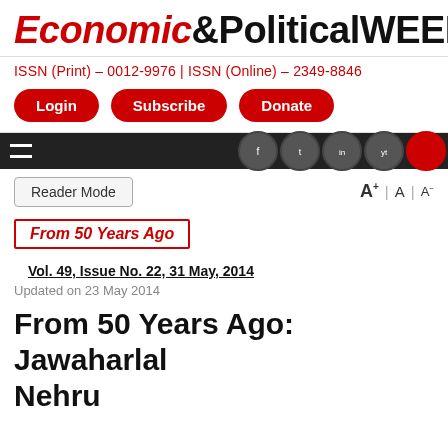Economic&Political WEEKLY
ISSN (Print) – 0012-9976 | ISSN (Online) – 2349-8846
Login   Subscribe   Donate
From 50 Years Ago
Vol. 49, Issue No. 22, 31 May, 2014
Updated on 23 May 2014
From 50 Years Ago: Jawaharlal Nehru